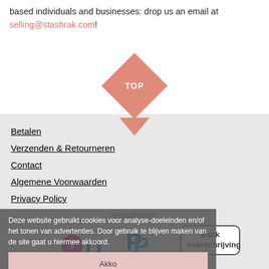based individuals and businesses: drop us an email at selling@stashrak.com!
[Figure (other): Diamond/arrow 'TOP' button pointing back to top of page]
Betalen
Verzenden & Retourneren
Contact
Algemene Voorwaarden
Privacy Policy
Betaalopties
[Figure (logo): iDEAL payment logo]
[Figure (logo): PayPal payment logo]
[Figure (other): Bank overschrijving payment option box]
Deze website gebruikt cookies voor analyse-doeleinden en/of het tonen van advertenties. Door gebruik te blijven maken van de site gaat u hiermee akkoord.